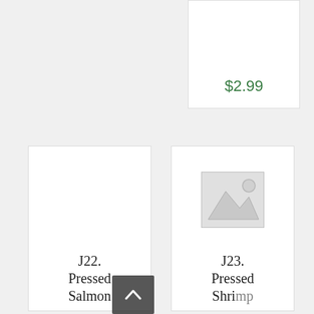$2.99
J22. Pressed Salmon
[Figure (illustration): Placeholder image icon (grey mountains and sun on light grey background) for product J23]
J23. Pressed Shrimp